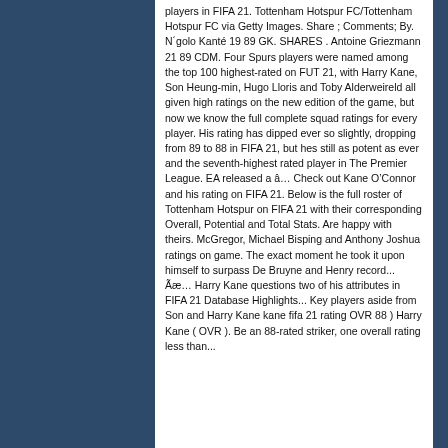players in FIFA 21. Tottenham Hotspur FC/Tottenham Hotspur FC via Getty Images. Share ; Comments; By. N´golo Kanté 19 89 GK. SHARES . Antoine Griezmann 21 89 CDM. Four Spurs players were named among the top 100 highest-rated on FUT 21, with Harry Kane, Son Heung-min, Hugo Lloris and Toby Alderweireld all given high ratings on the new edition of the game, but now we know the full complete squad ratings for every player. His rating has dipped ever so slightly, dropping from 89 to 88 in FIFA 21, but heâs still as potent as ever and the seventh-highest rated player in The Premier League. EA released a â¦ Check out Kane O’Connor and his rating on FIFA 21. Below is the full roster of Tottenham Hotspur on FIFA 21 with their corresponding Overall, Potential and Total Stats. Are happy with theirs. McGregor, Michael Bisping and Anthony Joshua ratings on game. The exact moment he took it upon himself to surpass De Bruyne and Henry record... Ã¦â¦ Harry Kane questions two of his attributes in FIFA 21 Database Highlights... Key players aside from Son and Harry Kane kane fifa 21 rating OVR 88 ) Harry Kane ( OVR ). Be an 88-rated striker, one overall rating less than...